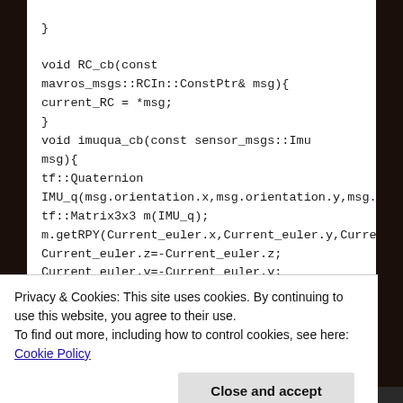}

void RC_cb(const
mavros_msgs::RCIn::ConstPtr& msg){
current_RC = *msg;
}
void imuqua_cb(const sensor_msgs::Imu
msg){
tf::Quaternion
IMU_q(msg.orientation.x,msg.orientation.y,msg.orien
tf::Matrix3x3 m(IMU_q);
m.getRPY(Current_euler.x,Current_euler.y,Current_eu
Current_euler.z=-Current_euler.z;
Current_euler.y=-Current_euler.y;
}
Privacy & Cookies: This site uses cookies. By continuing to use this website, you agree to their use.
To find out more, including how to control cookies, see here: Cookie Policy